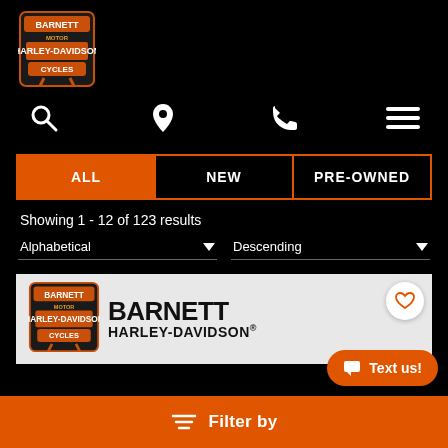[Figure (logo): Barnett Harley-Davidson Cycles logo in top left, orange and black shield design]
[Figure (infographic): Navigation icon row: search (magnifying glass), location pin, phone, and hamburger menu icons]
ALL | NEW | PRE-OWNED (tab selector, ALL is active/orange)
Showing 1 - 12 of 123 results
Alphabetical ▼   Descending ▼
[Figure (logo): Barnett Harley-Davidson dealer card with logo on left and large BARNETT HARLEY-DAVIDSON text on right, on white background]
≡ Filter by
Text us!